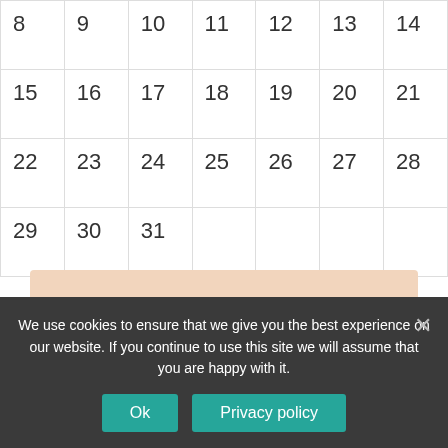| 8 | 9 | 10 | 11 | 12 | 13 | 14 |
| 15 | 16 | 17 | 18 | 19 | 20 | 21 |
| 22 | 23 | 24 | 25 | 26 | 27 | 28 |
| 29 | 30 | 31 |  |  |  |  |
« Jun
[Figure (infographic): OnlineDivorcer ad banner with salmon background, logo with infinity rings icon, FULL DIVORCE PACKAGE feature listed with checkmark icon, and partially visible second feature]
We use cookies to ensure that we give you the best experience on our website. If you continue to use this site we will assume that you are happy with it. Ok  Privacy policy